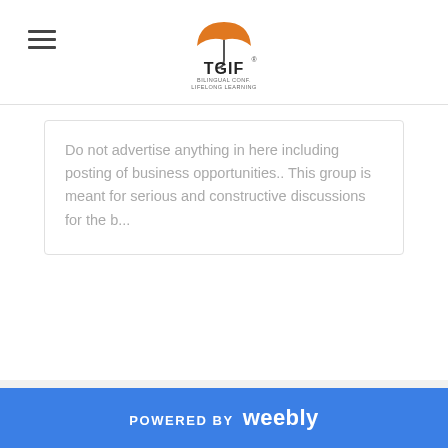[Figure (logo): TGIF logo with orange umbrella graphic above letters TGIF and subtitle text below]
Do not advertise anything in here including posting of business opportunities.. This group is meant for serious and constructive discussions for the b...
POWERED BY weebly